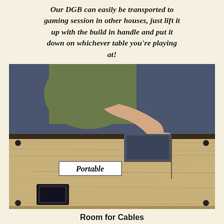Our DGB can easily be transported to gaming session in other houses, just lift it up with the build in handle and put it down on whichever table you're playing at!
[Figure (photo): A person lifting a wooden board/box by a recessed handle cut into the top surface. The board appears to be a portable gaming board with a light wood surface, dark edges, and metal corner pieces. A label 'Portable' is annotated on the image pointing to the handle area. A small black inset/port is visible on the lower left corner of the board.]
Room for Cables